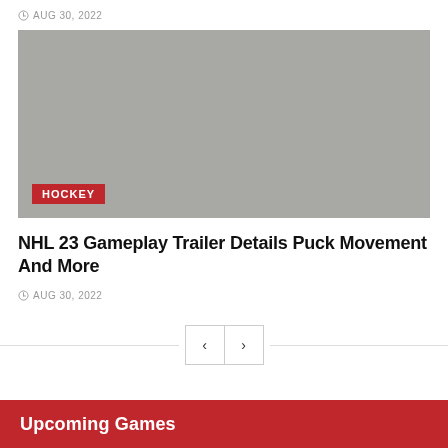AUG 30, 2022
[Figure (photo): Gray placeholder image with a red HOCKEY category badge in the lower left corner]
NHL 23 Gameplay Trailer Details Puck Movement And More
AUG 30, 2022
< >
Upcoming Games